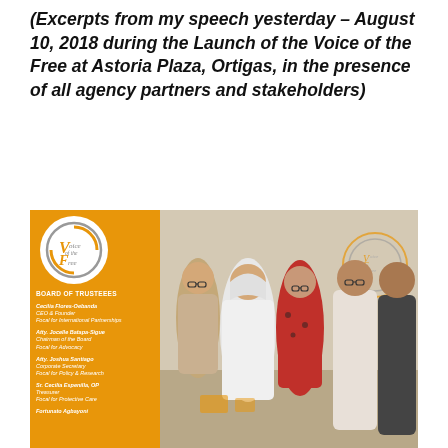(Excerpts from my speech yesterday – August 10, 2018 during the Launch of the Voice of the Free at Astoria Plaza, Ortigas, in the presence of all agency partners and stakeholders)
[Figure (photo): Group photo of five people standing together at the Voice of the Free launch event at Astoria Plaza, Ortigas. An orange sidebar shows the Voice of the Free logo and a list of Board of Trustees members including Cecilia Flores-Oebanda, Atty. Jocelle Batapa-Sigue, Atty. Joshua Santiago, Sr. Cecilia Espenilla OP, and Fortunato Agbayoni.]